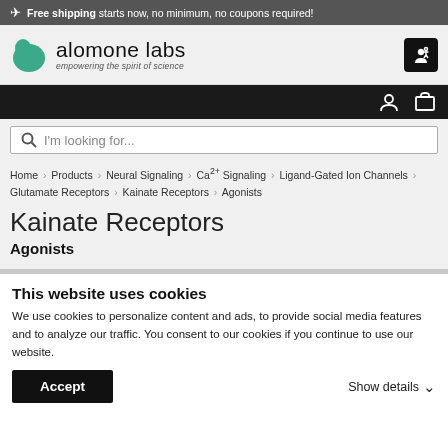✈ Free shipping starts now, no minimum, no coupons required!
[Figure (logo): Alomone Labs logo with teal speech-bubble icon and text 'alomone labs empowering the spirit of science']
I'm looking for...
Home > Products > Neural Signaling > Ca2+ Signaling > Ligand-Gated Ion Channels > Glutamate Receptors > Kainate Receptors > Agonists
Kainate Receptors
Agonists
This website uses cookies
We use cookies to personalize content and ads, to provide social media features and to analyze our traffic. You consent to our cookies if you continue to use our website.
Accept
Show details